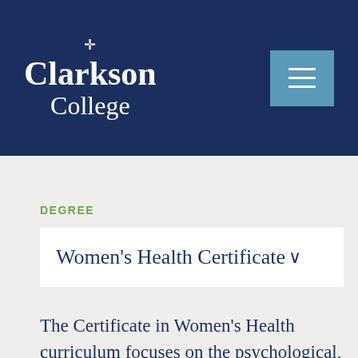[Figure (logo): Clarkson College logo with cross symbol and institution name in white on dark navy background, with a light blue hamburger menu button on the right]
DEGREE
Women's Health Certificate
The Certificate in Women's Health curriculum focuses on the psychological,